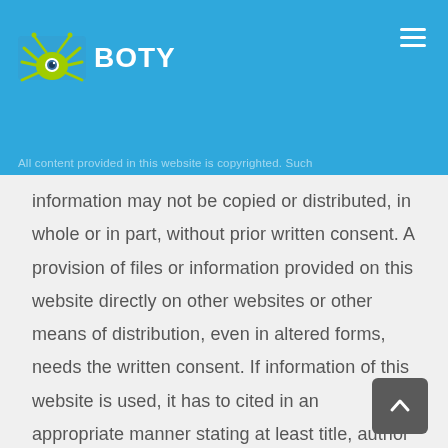BOTY — All content provided in this website is copyrighted. Such
information may not be copied or distributed, in whole or in part, without prior written consent. A provision of files or information provided on this website directly on other websites or other means of distribution, even in altered forms, needs the written consent. If information of this website is used, it has to cited in an appropriate manner stating at least title, author and the companies name and webpage.